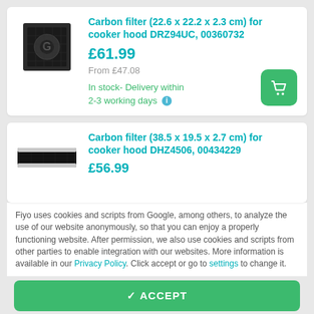[Figure (photo): Square dark carbon filter product image]
Carbon filter (22.6 x 22.2 x 2.3 cm) for cooker hood DRZ94UC, 00360732
£61.99
From £47.08
In stock- Delivery within 2-3 working days
[Figure (photo): Rectangular dark carbon filter product image]
Carbon filter (38.5 x 19.5 x 2.7 cm) for cooker hood DHZ4506, 00434229
£56.99
Fiyo uses cookies and scripts from Google, among others, to analyze the use of our website anonymously, so that you can enjoy a properly functioning website. After permission, we also use cookies and scripts from other parties to enable integration with our websites. More information is available in our Privacy Policy. Click accept or go to settings to change it.
✓ ACCEPT